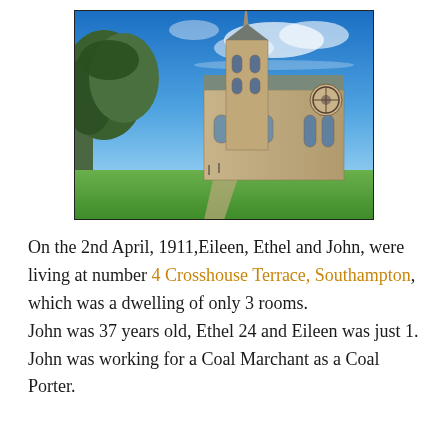[Figure (photo): Exterior photograph of a large stone Gothic church with a tall spire/tower, rose window, and arched windows. Green lawn in foreground, blue sky with clouds, trees to the left.]
On the 2nd April, 1911,Eileen, Ethel and John, were living at number 4 Crosshouse Terrace, Southampton, which was a dwelling of only 3 rooms.
John was 37 years old, Ethel 24 and Eileen was just 1.
John was working for a Coal Marchant as a Coal Porter.